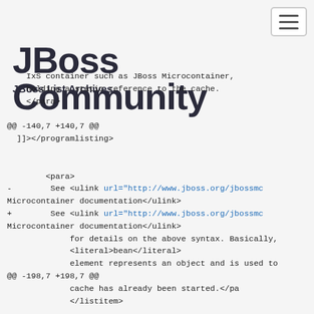JBoss Community
JBoss List Archives
IxS container such as JBoss Microcontainer,
 holding a static reference to the cache.
 </para>

@@ -140,7 +140,7 @@
 ]]></programlisting>


        <para>
-        See <ulink url="http://www.jboss.org/jbossmc Microcontainer documentation</ulink>
+        See <ulink url="http://www.jboss.org/jbossmc Microcontainer documentation</ulink>
              for details on the above syntax. Basically,
              <literal>bean</literal>
              element represents an object and is used to
@@ -198,7 +198,7 @@
              cache has already been started.</pa
              </listitem>